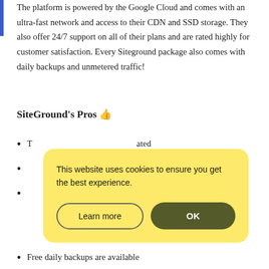The platform is powered by the Google Cloud and comes with an ultra-fast network and access to their CDN and SSD storage. They also offer 24/7 support on all of their plans and are rated highly for customer satisfaction. Every Siteground package also comes with daily backups and unmetered traffic!
SiteGround's Pros 👍
T... ated
(partially obscured)
(partially obscured)
[Figure (other): Cookie consent popup with yellow background. Text: 'This website uses cookies to ensure you get the best experience.' Two buttons: 'Learn more' (outlined) and 'OK' (dark olive green filled).]
Free daily backups are available